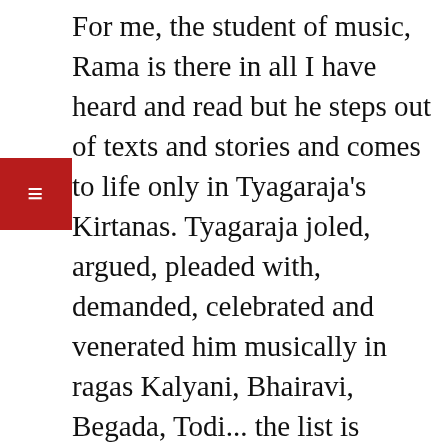For me, the student of music, Rama is there in all I have heard and read but he steps out of texts and stories and comes to life only in Tyagaraja's Kirtanas. Tyagaraja joled, argued, pleaded with, demanded, celebrated and venerated him musically in ragas Kalyani, Bhairavi, Begada, Todi... the list is endless. My guru used to explain the meaning of every line, its mythological context and the attributes of Purushottama. And, on occasion, I would like to believe, he sat quietly in a corner listening to us sing.
Tyagaraja's Rama is kind, soft spoken and charming. He refers to Rama's speaking voice as mrdu bhasha; someone who